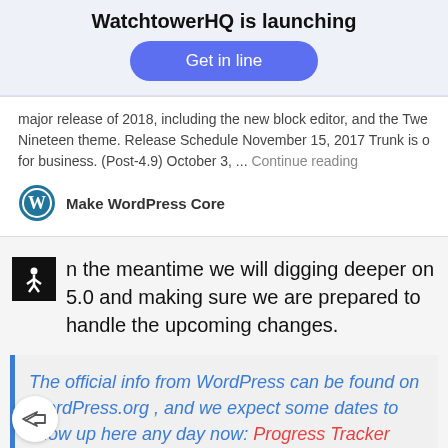WatchtowerHQ is launching
Get in line
major release of 2018, including the new block editor, and the Twe Nineteen theme. Release Schedule November 15, 2017 Trunk is o for business. (Post-4.9) October 3, ... Continue reading
Make WordPress Core
In the meantime we will digging deeper on 5.0 and making sure we are prepared to handle the upcoming changes.
The official info from WordPress can be found on WordPress.org , and we expect some dates to show up here any day now: Progress Tracker